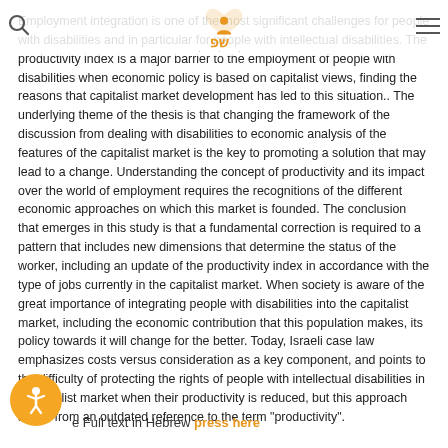[search icon] [logo: שפ/disability organization] [menu icon]
Employment integration is one of the most significant challenges for people with disabilities and in particular for people with intellectual disabilities. The productivity index is a major barrier to the employment of people with disabilities when economic policy is based on capitalist views, finding the reasons that capitalist market development has led to this situation.. The underlying theme of the thesis is that changing the framework of the discussion from dealing with disabilities to economic analysis of the features of the capitalist market is the key to promoting a solution that may lead to a change. Understanding the concept of productivity and its impact over the world of employment requires the recognitions of the different economic approaches on which this market is founded. The conclusion that emerges in this study is that a fundamental correction is required to a pattern that includes new dimensions that determine the status of the worker, including an update of the productivity index in accordance with the type of jobs currently in the capitalist market. When society is aware of the great importance of integrating people with disabilities into the capitalist market, including the economic contribution that this population makes, its policy towards it will change for the better. Today, Israeli case law emphasizes costs versus consideration as a key component, and points to the difficulty of protecting the rights of people with intellectual disabilities in a capitalist market when their productivity is reduced, but this approach stems from an outdated reference to the term "productivity".
e Full text in Hebrew press here